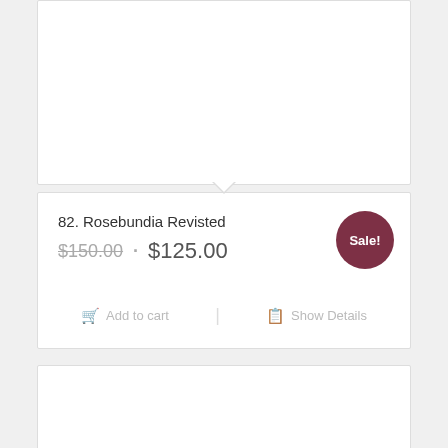[Figure (other): Top product card image area - blank white area with downward pointing triangle at bottom]
82. Rosebundia Revisted
$150.00 · $125.00
Sale!
Add to cart   Show Details
[Figure (other): Bottom product card - blank white image area, partially visible]